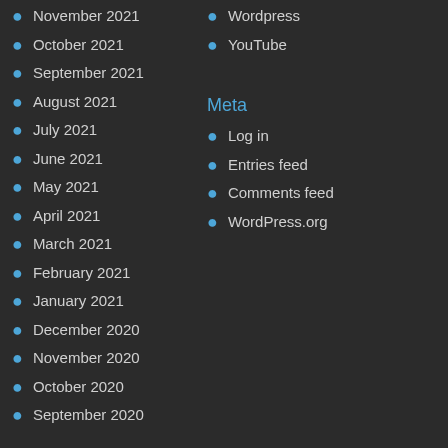November 2021
Wordpress
October 2021
YouTube
September 2021
August 2021
Meta
July 2021
Log in
June 2021
Entries feed
May 2021
Comments feed
April 2021
WordPress.org
March 2021
February 2021
January 2021
December 2020
November 2020
October 2020
September 2020